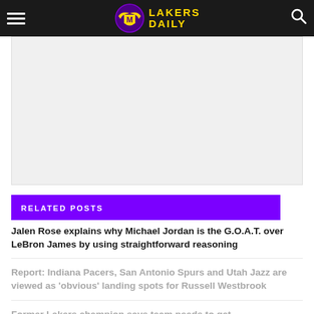LAKERS DAILY
[Figure (other): Advertisement placeholder area with light gray background]
RELATED POSTS
Jalen Rose explains why Michael Jordan is the G.O.A.T. over LeBron James by using straightforward reasoning
Report: Indiana Pacers, San Antonio Spurs and Utah Jazz are viewed as 'obvious' landing spots for Russell Westbrook
Former Lakers champion says team needs to get